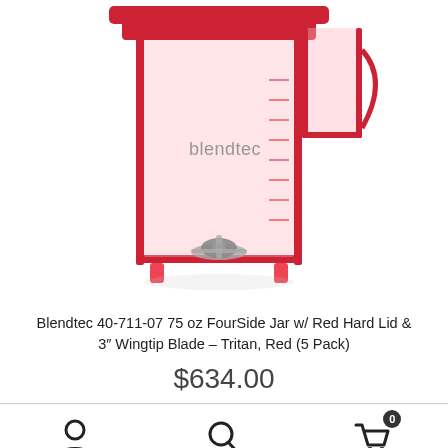[Figure (photo): A Blendtec 75 oz FourSide blender jar with a red hard lid and 3-inch wingtip blade, made of clear Tritan plastic with red trim, showing the interior with measurement markings and the blendtec logo on the front.]
Blendtec 40-711-07 75 oz FourSide Jar w/ Red Hard Lid & 3" Wingtip Blade – Tritan, Red (5 Pack)
$634.00
[Figure (infographic): Bottom navigation bar with three icons: a person/account icon, a search/magnifying glass icon, and a shopping cart icon with a badge showing 0.]